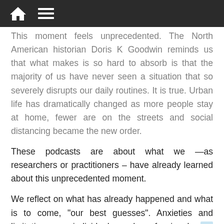[home icon] [menu icon]
This moment feels unprecedented. The North American historian Doris K Goodwin reminds us that what makes is so hard to absorb is that the majority of us have never seen a situation that so severely disrupts our daily routines. It is true. Urban life has dramatically changed as more people stay at home, fewer are on the streets and social distancing became the new order.
These podcasts are about what we —as researchers or practitioners – have already learned about this unprecedented moment.
We reflect on what has already happened and what is to come, “our best guesses”. Anxieties and limitations as individuals and professionals are impressed in the voices of experts from rural